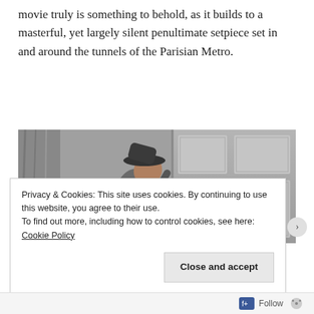movie truly is something to behold, as it builds to a masterful, yet largely silent penultimate setpiece set in and around the tunnels of the Parisian Metro.
[Figure (photo): Black and white film still showing a person wearing a hat pressed against a large paneled door, leaning sideways with head tilted back.]
Privacy & Cookies: This site uses cookies. By continuing to use this website, you agree to their use.
To find out more, including how to control cookies, see here: Cookie Policy